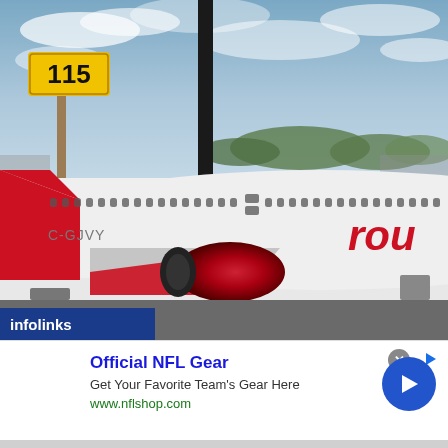[Figure (photo): Photograph of an Air Canada Rouge Airbus aircraft (registration C-GJVY) on an airport tarmac. A yellow airport taxiway sign showing '115' is visible in the background on a wooden pole. A large black pole is also visible. The aircraft has a white fuselage with red accents on the tail and engine nacelle. The 'rou' portion of the Rouge livery is partially visible on the fuselage. Overcast sky with clouds in background.]
infolinks
Official NFL Gear
Get Your Favorite Team's Gear Here
www.nflshop.com